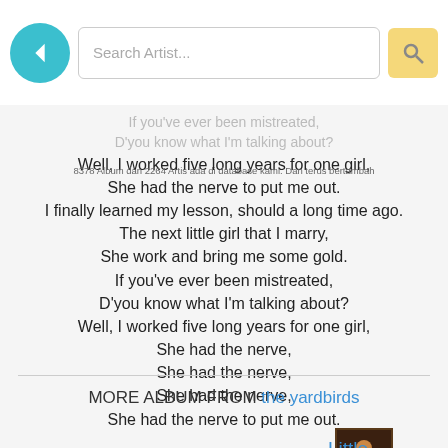Search Artist...
If you've ever been mistreated,
D'you know what I'm talking about?
Well, I worked five long years for one girl,
She had the nerve to put me out.
I finally learned my lesson, should a long time ago.
The next little girl that I marry,
She work and bring me some gold.
If you've ever been mistreated,
D'you know what I'm talking about?
Well, I worked five long years for one girl,
She had the nerve,
She had the nerve,
She had the nerve,
She had the nerve to put me out.
8378 Album dan 2264 Artis ada di database kami. Dan terus bertambah
MORE ALBUM FROM the yardbirds
Little Games
[Figure (photo): Album cover thumbnail for Little Games by The Yardbirds]
[Figure (photo): Album cover thumbnail partially visible at bottom]